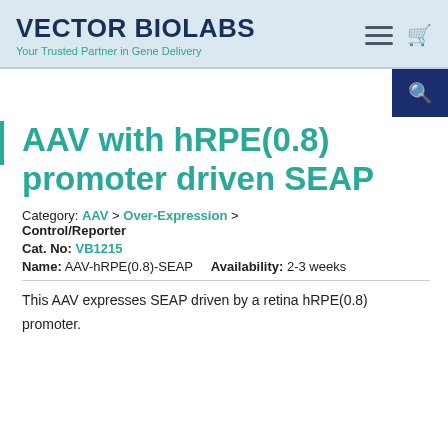VECTOR BIOLABS — Your Trusted Partner in Gene Delivery
AAV with hRPE(0.8) promoter driven SEAP
Category: AAV > Over-Expression > Control/Reporter
Cat. No: VB1215
Name: AAV-hRPE(0.8)-SEAP    Availability: 2-3 weeks
This AAV expresses SEAP driven by a retina hRPE(0.8) promoter.